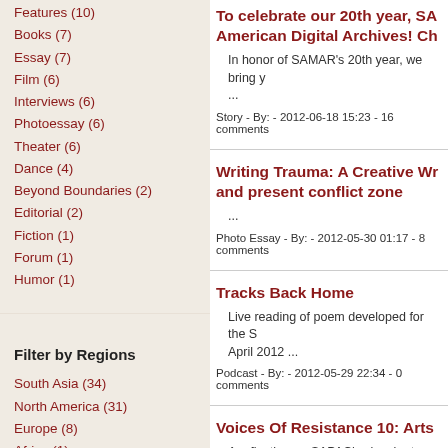Features (10)
Books (7)
Essay (7)
Film (6)
Interviews (6)
Photoessay (6)
Theater (6)
Dance (4)
Beyond Boundaries (2)
Editorial (2)
Fiction (1)
Forum (1)
Humor (1)
Filter by Regions
South Asia (34)
North America (31)
Europe (8)
Africa (1)
To celebrate our 20th year, SA American Digital Archives! Ch
In honor of SAMAR’s 20th year, we bring y ...
Story - By: - 2012-06-18 15:23 - 16 comments
Writing Trauma: A Creative Wr and present conflict zone
...
Photo Essay - By: - 2012-05-30 01:17 - 8 comments
Tracks Back Home
Live reading of poem developed for the S April 2012 ...
Podcast - By: - 2012-05-29 22:34 - 0 comments
Voices Of Resistance 10: Arts
A reflection on SAPAC’s visual arts exhibit